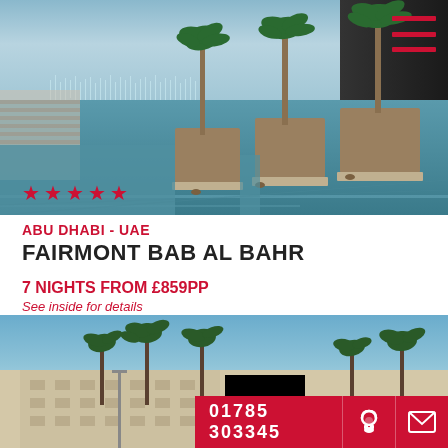[Figure (photo): Luxury hotel infinity pool with palm trees on raised platforms and fountains in background, Abu Dhabi UAE]
ABU DHABI - UAE
FAIRMONT BAB AL BAHR
7 NIGHTS FROM £859pp
See inside for details
[Figure (photo): Hotel resort exterior with palm trees and sandy-colored building under blue sky]
01785 303345